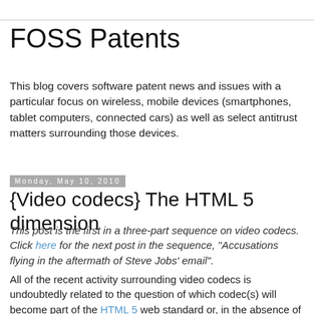FOSS Patents
This blog covers software patent news and issues with a particular focus on wireless, mobile devices (smartphones, tablet computers, connected cars) as well as select antitrust matters surrounding those devices.
Monday, May 10, 2010
{Video codecs} The HTML 5 dimension
This post is the first in a three-part sequence on video codecs. Click here for the next post in the sequence, "Accusations flying in the aftermath of Steve Jobs' email".
All of the recent activity surrounding video codecs is undoubtedly related to the question of which codec(s) will become part of the HTML 5 web standard or, in the absence of an official standard, will evolve into a de facto standard in connection with HTML 5.